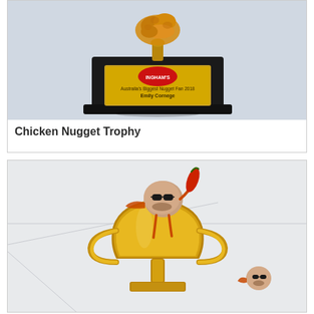[Figure (photo): A trophy with a chicken nugget on top of a black base with a gold plaque reading 'Ingham's Australia's Biggest Nugget Fan 2018 Emily Cornege']
Chicken Nugget Trophy
[Figure (photo): A gold trophy cup with a cartoon chicken nugget character wearing sunglasses sitting inside/on top, holding a red chili pepper. A smaller version of the same character appears in the bottom right.]